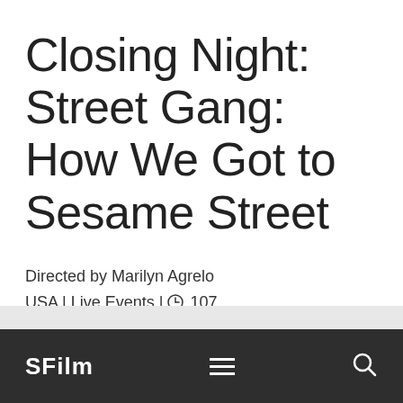Closing Night: Street Gang: How We Got to Sesame Street
Directed by Marilyn Agrelo
USA | Live Events | ⏰ 107
GET TICKETS
SFILM